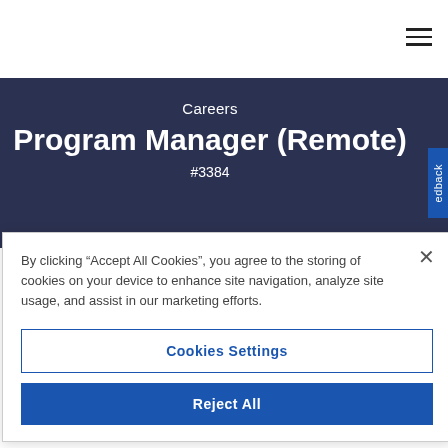≡
Careers
Program Manager (Remote)
#3384
By clicking “Accept All Cookies”, you agree to the storing of cookies on your device to enhance site navigation, analyze site usage, and assist in our marketing efforts.
Cookies Settings
Reject All